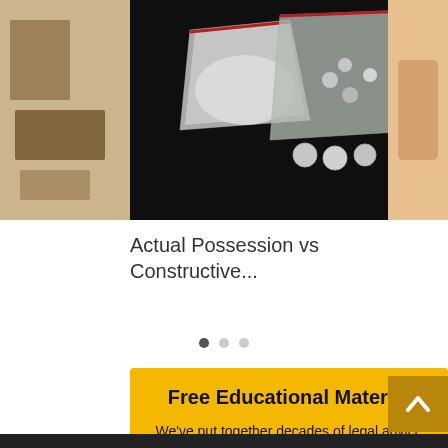[Figure (photo): Carousel slide showing plastic bags with various substances (drugs) on a dark background, flanked by partial views of other slides on left and right]
Actual Possession vs Constructive...
[Figure (other): Carousel pagination dots: one filled dark dot and two lighter dots]
Free Educational Material
We've put together decades of legal advice and expertise into our blog that we want to share with you.
Click the link to the right to get started.